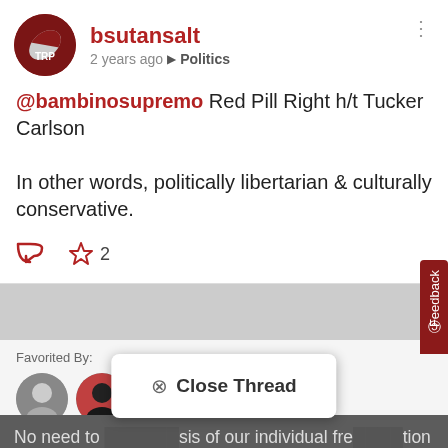[Figure (screenshot): Social media post by bsutansalt with red pill avatar]
bsutansalt
2 years ago ▶ Politics
@bambinosupremo Red Pill Right h/t Tucker Carlson

In other words, politically libertarian & culturally conservative.
☆ 2
Favorited By:
No need to [...]sis of our individual fre[...]tion brought on by our ty[...]for power, but here is an overlooked tool that might prove itself to be vital to the survival of our nation. Milton Friedman was
⊗ Close Thread